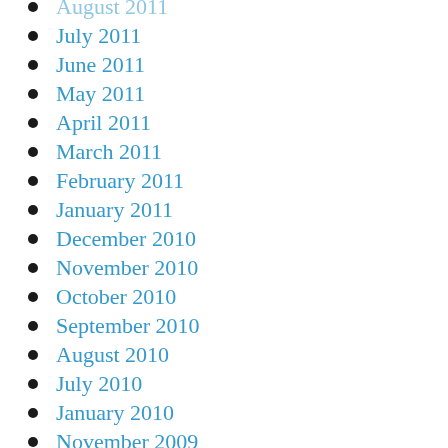August 2011
July 2011
June 2011
May 2011
April 2011
March 2011
February 2011
January 2011
December 2010
November 2010
October 2010
September 2010
August 2010
July 2010
January 2010
November 2009
August 2009